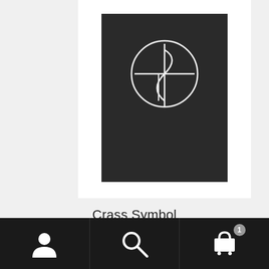[Figure (photo): Product photo of a dark/black t-shirt with a Crass symbol (anarchist symbol in a circle) printed in white on the front, displayed on a white background card]
Crass Symbol
£19.99
Select options
[Figure (infographic): Bottom navigation bar with three icons: person/account icon, search/magnifying glass icon, and shopping cart icon with badge showing count 1]